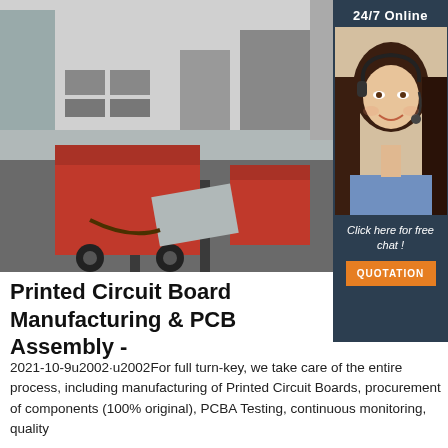[Figure (photo): Industrial manufacturing facility with red machinery/equipment on rails, metal components, and workshop interior]
[Figure (photo): Customer service agent (woman with headset) with '24/7 Online' label and 'Click here for free chat!' and 'QUOTATION' button on dark navy sidebar]
Printed Circuit Board Manufacturing & PCB Assembly -
2021-10-9u2002·u2002For full turn-key, we take care of the entire process, including manufacturing of Printed Circuit Boards, procurement of components (100% original), PCBA Testing, continuous monitoring, quality...